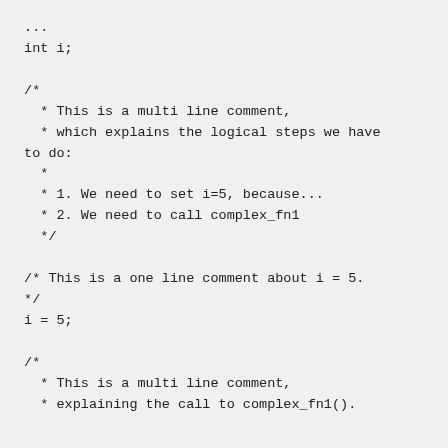...
 int i;

 /*
   * This is a multi line comment,
   * which explains the logical steps we have to do:
   *
   * 1. We need to set i=5, because...
   * 2. We need to call complex_fn1
   */

 /* This is a one line comment about i = 5.
 */
 i = 5;

 /*
   * This is a multi line comment,
   * explaining the call to complex_fn1().